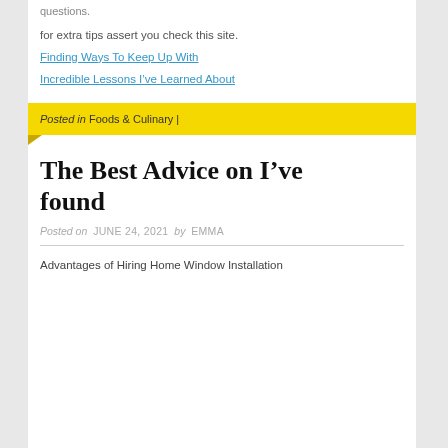questions.
for extra tips assert you check this site.
Finding Ways To Keep Up With
Incredible Lessons I've Learned About
Posted in Foods & Culinary |
The Best Advice on I've found
Posted on JUNE 24, 2021 by EMMA
Advantages of Hiring Home Window Installation